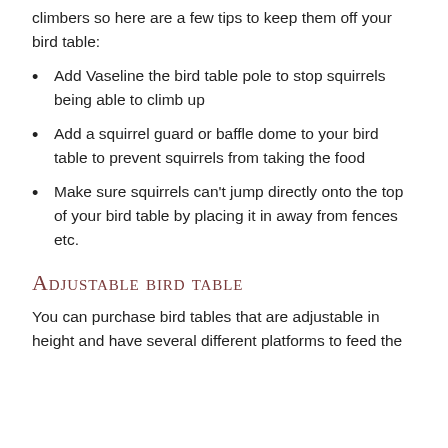climbers so here are a few tips to keep them off your bird table:
Add Vaseline the bird table pole to stop squirrels being able to climb up
Add a squirrel guard or baffle dome to your bird table to prevent squirrels from taking the food
Make sure squirrels can't jump directly onto the top of your bird table by placing it in away from fences etc.
Adjustable bird table
You can purchase bird tables that are adjustable in height and have several different platforms to feed the